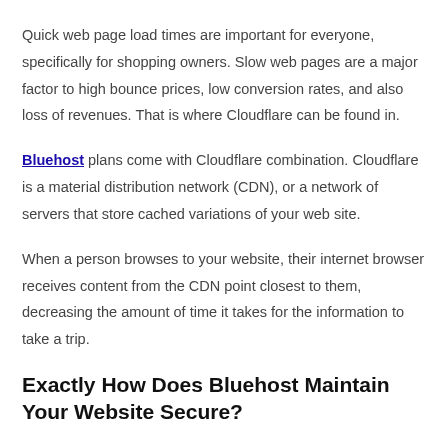Quick web page load times are important for everyone, specifically for shopping owners. Slow web pages are a major factor to high bounce prices, low conversion rates, and also loss of revenues. That is where Cloudflare can be found in.
Bluehost plans come with Cloudflare combination. Cloudflare is a material distribution network (CDN), or a network of servers that store cached variations of your web site.
When a person browses to your website, their internet browser receives content from the CDN point closest to them, decreasing the amount of time it takes for the information to take a trip.
Exactly How Does Bluehost Maintain Your Website Secure?
Bluehost uses SiteLock to check your internet site daily for viruses